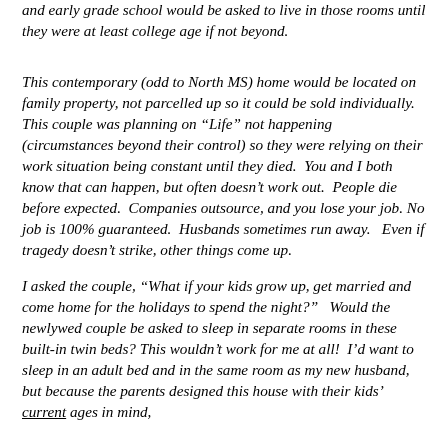and early grade school would be asked to live in those rooms until they were at least college age if not beyond.
This contemporary (odd to North MS) home would be located on family property, not parcelled up so it could be sold individually. This couple was planning on “Life” not happening (circumstances beyond their control) so they were relying on their work situation being constant until they died. You and I both know that can happen, but often doesn’t work out. People die before expected. Companies outsource, and you lose your job. No job is 100% guaranteed. Husbands sometimes run away. Even if tragedy doesn’t strike, other things come up.
I asked the couple, “What if your kids grow up, get married and come home for the holidays to spend the night?” Would the newlywed couple be asked to sleep in separate rooms in these built-in twin beds? This wouldn’t work for me at all! I’d want to sleep in an adult bed and in the same room as my new husband, but because the parents designed this house with their kids’ current ages in mind,